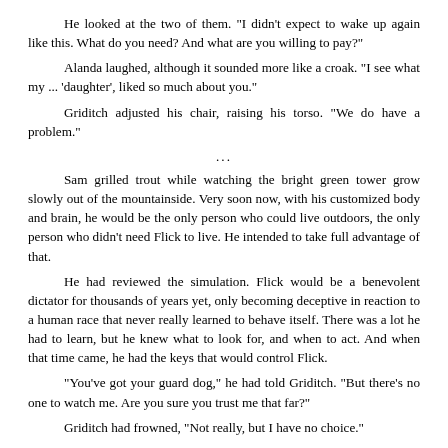He looked at the two of them. “I didn’t expect to wake up again like this. What do you need? And what are you willing to pay?”
Alanda laughed, although it sounded more like a croak. “I see what my … ‘daughter’, liked so much about you.”
Griditch adjusted his chair, raising his torso. “We do have a problem.”
…
Sam grilled trout while watching the bright green tower grow slowly out of the mountainside. Very soon now, with his customized body and brain, he would be the only person who could live outdoors, the only person who didn’t need Flick to live. He intended to take full advantage of that.
He had reviewed the simulation. Flick would be a benevolent dictator for thousands of years yet, only becoming deceptive in reaction to a human race that never really learned to behave itself. There was a lot he had to learn, but he knew what to look for, and when to act. And when that time came, he had the keys that would control Flick.
“You’ve got your guard dog,” he had told Griditch. “But there’s no one to watch me. Are you sure you trust me that far?”
Griditch had frowned, “Not really, but I have no choice.”
Alanda had shushed her fellow Elder. “I trust you, Samuel. Are you sure you want to vanish so early?”
“It’s best this way. You fixed it, you say, so Flick’ll never notice I’m different. But I was raised more cautious than that. In a billion people, everyone gossips about the Elders—and the people that hang around them. I need to drop out of sight for a while.”
Sam pulled the trout out of the fire and gingerly pinched off some of the